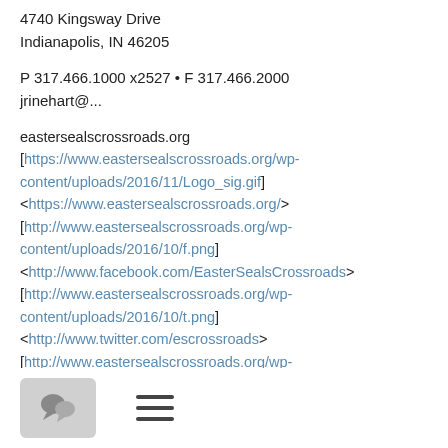4740 Kingsway Drive
Indianapolis, IN 46205
P 317.466.1000 x2527 • F 317.466.2000
jrinehart@...
eastersealscrossroads.org
[https://www.eastersealscrossroads.org/wp-content/uploads/2016/11/Logo_sig.gif]
<https://www.eastersealscrossroads.org/>
[http://www.eastersealscrossroads.org/wp-content/uploads/2016/10/f.png]
<http://www.facebook.com/EasterSealsCrossroads>
[http://www.eastersealscrossroads.org/wp-content/uploads/2016/10/t.png]
<http://www.twitter.com/escrossroads>
[http://www.eastersealscrossroads.org/wp-content/uploads/2016/10/l.png]
<http://www.linkedin.com/company/easter-seals-crossroads>
[http://www.eastersealscrossroads.org/wp-content/uploads/...